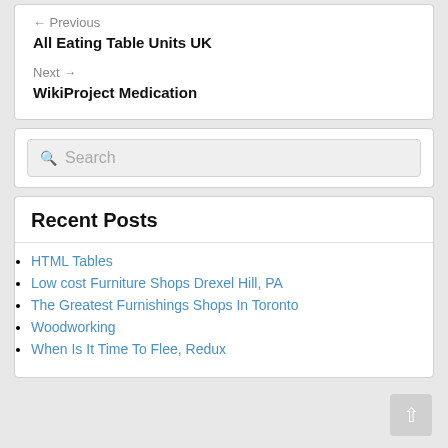← Previous
All Eating Table Units UK
Next →
WikiProject Medication
Search
Recent Posts
HTML Tables
Low cost Furniture Shops Drexel Hill, PA
The Greatest Furnishings Shops In Toronto
Woodworking
When Is It Time To Flee, Redux